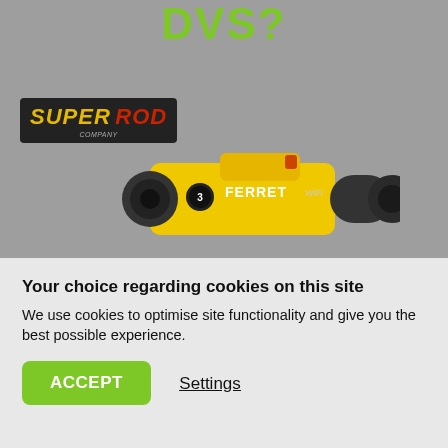DVS?
[Figure (logo): Super Rod company logo in black box with yellow italic 'SUPER' and red italic 'ROD' text]
[Figure (photo): Yellow and black Ferret WiFi camera inspection device]
Your choice regarding cookies on this site
We use cookies to optimise site functionality and give you the best possible experience.
ACCEPT
Settings